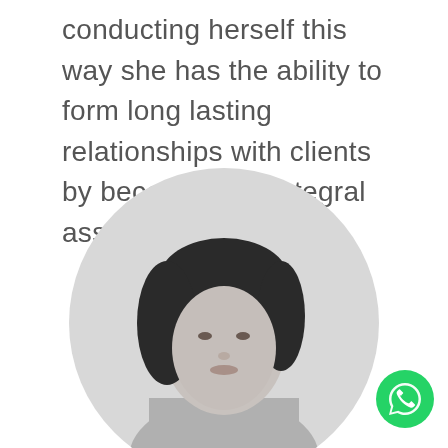conducting herself this way she has the ability to form long lasting relationships with clients by becoming an integral asset to their business.
[Figure (illustration): Social media icons: Instagram (circle with rounded square camera icon) and LinkedIn (stylized 'in' text icon), displayed in dark gray]
[Figure (photo): Circular cropped black and white portrait photo of a woman with dark hair, shown from approximately mid-torso up, partially visible at bottom of page]
[Figure (illustration): Green circular WhatsApp button with white phone/chat icon, positioned at bottom right corner]